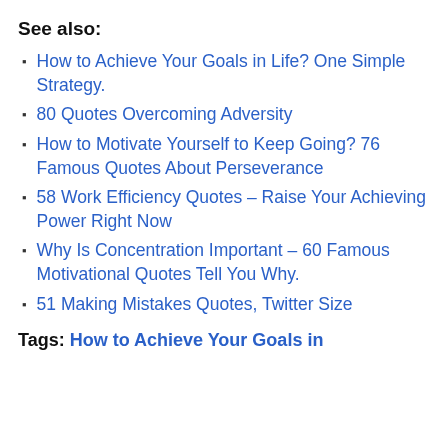See also:
How to Achieve Your Goals in Life? One Simple Strategy.
80 Quotes Overcoming Adversity
How to Motivate Yourself to Keep Going? 76 Famous Quotes About Perseverance
58 Work Efficiency Quotes – Raise Your Achieving Power Right Now
Why Is Concentration Important – 60 Famous Motivational Quotes Tell You Why.
51 Making Mistakes Quotes, Twitter Size
Tags: How to Achieve Your Goals in